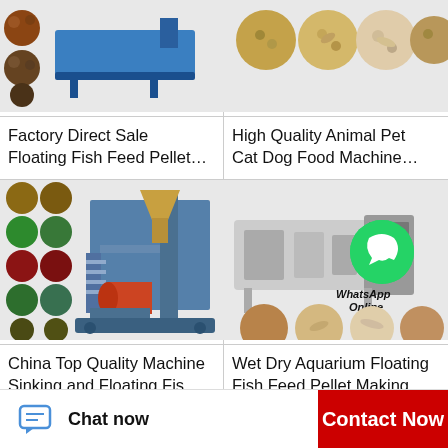[Figure (photo): Factory Direct Sale Floating Fish Feed Pellet machine - blue conveyor machine with pellet samples]
Factory Direct Sale
Floating Fish Feed Pellet…
[Figure (photo): High Quality Animal Pet Cat Dog Food Machine - pellet samples shown]
High Quality Animal Pet
Cat Dog Food Machine…
[Figure (photo): China Top Quality Machine Sinking and Floating Fish feed pellet extruder with colorful pellet samples]
China Top Quality Machine
Sinking and Floating Fis…
[Figure (photo): Wet Dry Aquarium Floating Fish Feed Pellet Making machine with WhatsApp Online overlay and pellet samples]
Wet Dry Aquarium Floating
Fish Feed Pellet Making…
Chat now
Contact Now